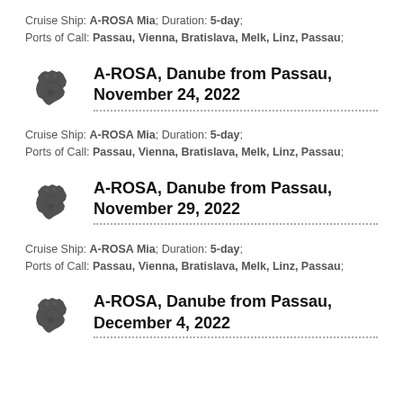Cruise Ship: A-ROSA Mia; Duration: 5-day;
Ports of Call: Passau, Vienna, Bratislava, Melk, Linz, Passau;
[Figure (illustration): Map icon of Europe, dark stamped style]
A-ROSA, Danube from Passau, November 24, 2022
Cruise Ship: A-ROSA Mia; Duration: 5-day;
Ports of Call: Passau, Vienna, Bratislava, Melk, Linz, Passau;
[Figure (illustration): Map icon of Europe, dark stamped style]
A-ROSA, Danube from Passau, November 29, 2022
Cruise Ship: A-ROSA Mia; Duration: 5-day;
Ports of Call: Passau, Vienna, Bratislava, Melk, Linz, Passau;
[Figure (illustration): Map icon of Europe, dark stamped style, partially cut off]
A-ROSA, Danube from Passau, December 4, 2022